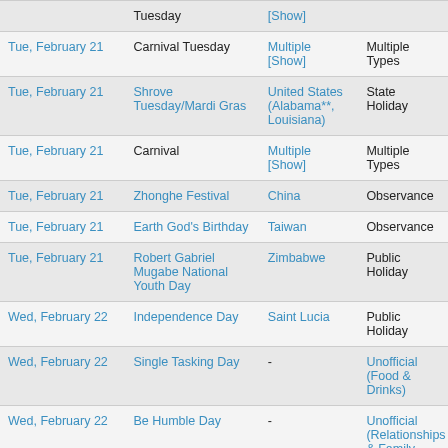| Date | Holiday | Location | Type |
| --- | --- | --- | --- |
| Tue, February 21 | Carnival Tuesday | Multiple [Show] | Multiple Types |
| Tue, February 21 | Shrove Tuesday/Mardi Gras | United States (Alabama**, Louisiana) | State Holiday |
| Tue, February 21 | Carnival | Multiple [Show] | Multiple Types |
| Tue, February 21 | Zhonghe Festival | China | Observance |
| Tue, February 21 | Earth God's Birthday | Taiwan | Observance |
| Tue, February 21 | Robert Gabriel Mugabe National Youth Day | Zimbabwe | Public Holiday |
| Wed, February 22 | Independence Day | Saint Lucia | Public Holiday |
| Wed, February 22 | Single Tasking Day | - | Unofficial (Food & Drinks) |
| Wed, February 22 | Be Humble Day | - | Unofficial (Relationships & Family, Activity & Action) |
| Wed, February 22 | National Margarita Day | - | Unofficial (Food & Drinks) |
| Wed, February 22 | National Cook a Sweet ... |  | Unofficial |